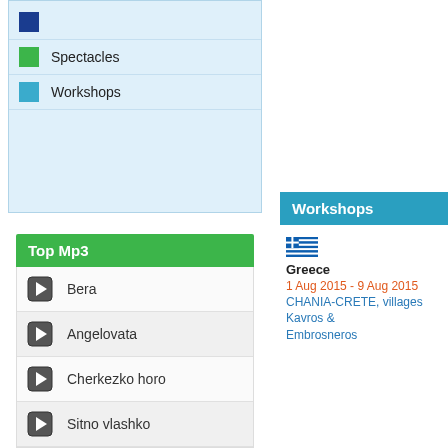Spectacles
Workshops
Top Mp3
Bera
Angelovata
Cherkezko horo
Sitno vlashko
Workshops
Greece
1 Aug 2015 - 9 Aug 2015
CHANIA-CRETE, villages Kavros & Embrosneros